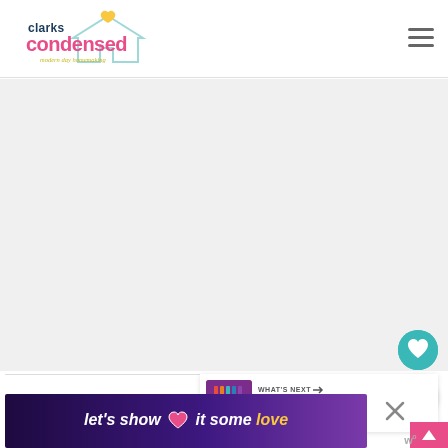[Figure (logo): Clarks Condensed logo with house icon, tagline 'modern day homemaking']
[Figure (other): Hamburger menu icon (three horizontal lines)]
[Figure (other): Main content area - large light gray rectangle (ad/image placeholder)]
[Figure (other): Floating action button - teal heart/save icon]
[Figure (other): Floating action button - share icon (white circle with share symbol)]
WHAT'S NEXT → Cricut Infusible Ink...
[Figure (other): Pink scroll-to-top button with upward arrow]
[Figure (other): Banner advertisement: 'let's show it some love' with pink heart and golden 'love' text on dark purple background]
[Figure (other): Close (X) button for the banner ad]
w°